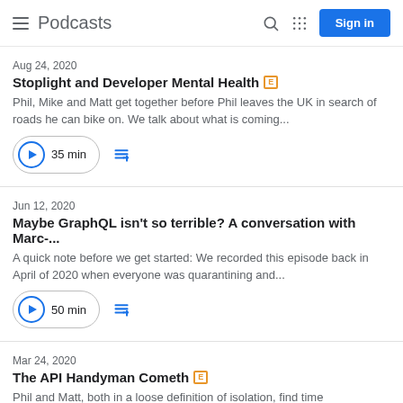Podcasts | Sign in
Aug 24, 2020
Stoplight and Developer Mental Health [E]
Phil, Mike and Matt get together before Phil leaves the UK in search of roads he can bike on. We talk about what is coming...
35 min
Jun 12, 2020
Maybe GraphQL isn't so terrible? A conversation with Marc-...
A quick note before we get started: We recorded this episode back in April of 2020 when everyone was quarantining and...
50 min
Mar 24, 2020
The API Handyman Cometh [E]
Phil and Matt, both in a loose definition of isolation, find time